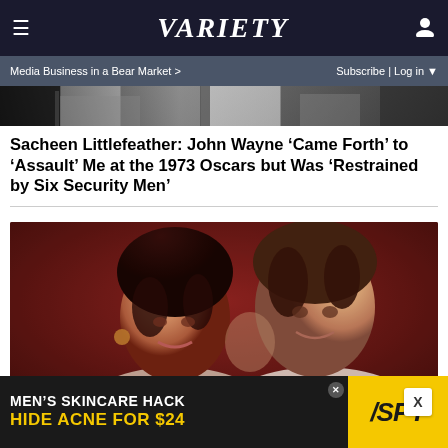VARIETY — Media Business in a Bear Market > | Subscribe | Log in
[Figure (photo): Partial cropped photo visible at top of page, black and white or muted tones]
Sacheen Littlefeather: John Wayne 'Came Forth' to 'Assault' Me at the 1973 Oscars but Was 'Restrained by Six Security Men'
[Figure (photo): Color photo of two people posing together, warm reddish-toned background]
[Figure (infographic): Advertisement banner: MEN'S SKINCARE HACK — HIDE ACNE FOR $24 with SPY logo]